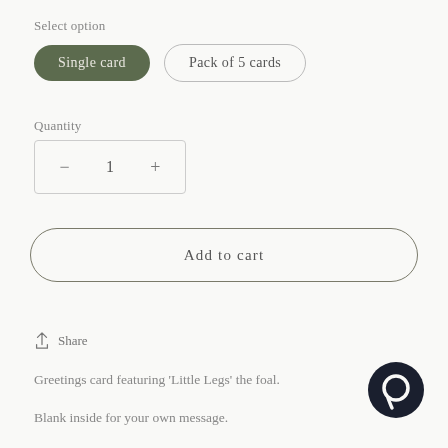Select option
Single card
Pack of 5 cards
Quantity
1
Add to cart
Share
Greetings card featuring ‘Little Legs’ the foal.
Blank inside for your own message.